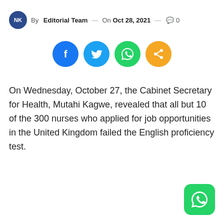By Editorial Team — On Oct 28, 2021 — 0 comments
[Figure (infographic): Social sharing icons: Facebook (blue), Twitter (light blue), WhatsApp (green), Share (orange)]
On Wednesday, October 27, the Cabinet Secretary for Health, Mutahi Kagwe, revealed that all but 10 of the 300 nurses who applied for job opportunities in the United Kingdom failed the English proficiency test.
[Figure (logo): WhatsApp floating action button (green rounded square with white phone/chat icon)]